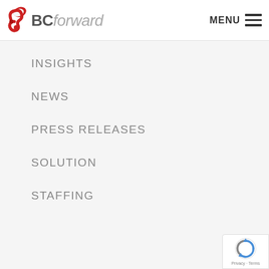BCforward — MENU
INSIGHTS
NEWS
PRESS RELEASES
SOLUTION
STAFFING
[Figure (logo): reCAPTCHA widget with Privacy and Terms links]